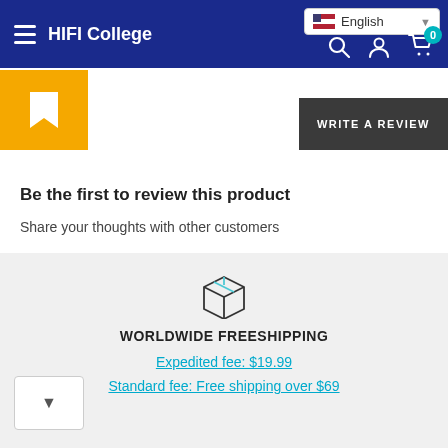HIFI College
[Figure (screenshot): Yellow bookmark icon and Write a Review dark button]
Be the first to review this product
Share your thoughts with other customers
[Figure (illustration): Package/box icon for worldwide free shipping section]
WORLDWIDE FREESHIPPING
Expedited fee: $19.99
Standard fee: Free shipping over $69